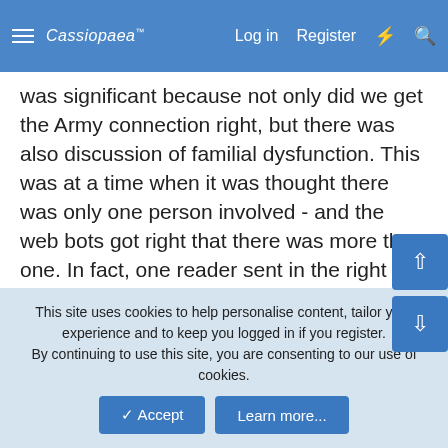Cassiopaea   Log in   Register
was significant because not only did we get the Army connection right, but there was also discussion of familial dysfunction. This was at a time when it was thought there was only one person involved - and the web bots got right that there was more than one. In fact, one reader sent in the right Army divisional insignia after reading the output. See _http://www.urbansurvival.com/bot4.htm.
More recently, in January of 2003 the web bots were going on and on about a "maritime disaster" - which didn't make any sense to us, until the Space Shuttle Columbia disaster hit. Columbia, as it was one of the ...
This site uses cookies to help personalise content, tailor your experience and to keep you logged in if you register.
By continuing to use this site, you are consenting to our use of cookies.